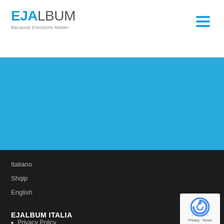EJALBUM Because Emotions Matter
[Figure (other): Blue banner background area]
Italiano
Shqip
English
EJALBUM ITALIA
Privacy Policy
Domande e Risposte
[Figure (logo): reCAPTCHA badge with Privacy and Terms links]